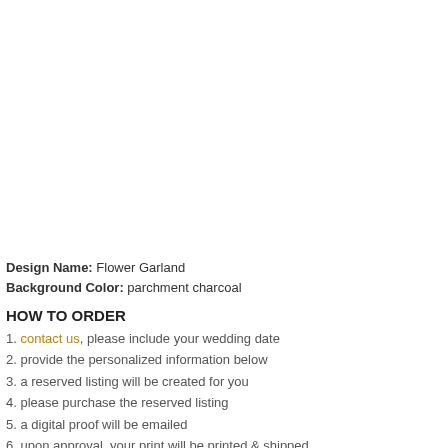Design Name: Flower Garland
Background Color: parchment charcoal
HOW TO ORDER
1. contact us, please include your wedding date
2. provide the personalized information below
3. a reserved listing will be created for you
4. please purchase the reserved listing
5. a digital proof will be emailed
6. upon approval, your print will be printed & shipped
PERSONALIZED INFORMATION